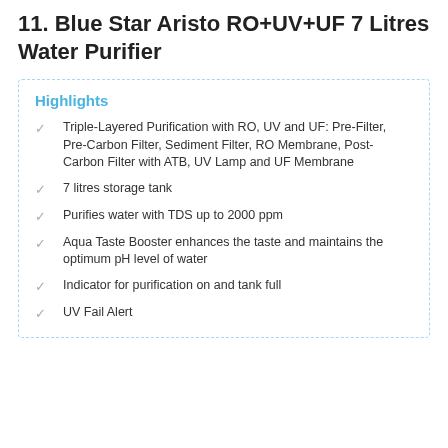11. Blue Star Aristo RO+UV+UF 7 Litres Water Purifier
Highlights
Triple-Layered Purification with RO, UV and UF: Pre-Filter, Pre-Carbon Filter, Sediment Filter, RO Membrane, Post-Carbon Filter with ATB, UV Lamp and UF Membrane
7 litres storage tank
Purifies water with TDS up to 2000 ppm
Aqua Taste Booster enhances the taste and maintains the optimum pH level of water
Indicator for purification on and tank full
UV Fail Alert